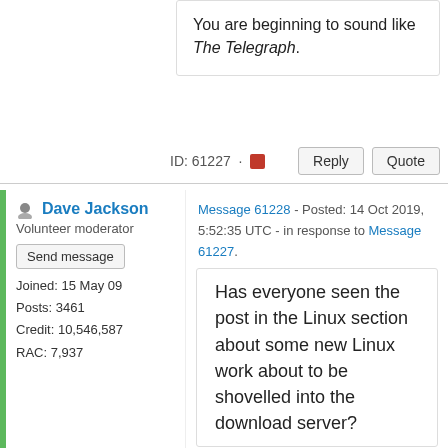You are beginning to sound like The Telegraph.
ID: 61227 · Reply Quote
Dave Jackson
Volunteer moderator
Send message
Joined: 15 May 09
Posts: 3461
Credit: 10,546,587
RAC: 7,937
Message 61228 - Posted: 14 Oct 2019, 5:52:35 UTC - in response to Message 61227.
Has everyone seen the post in the Linux section about some new Linux work about to be shovelled into the download server?